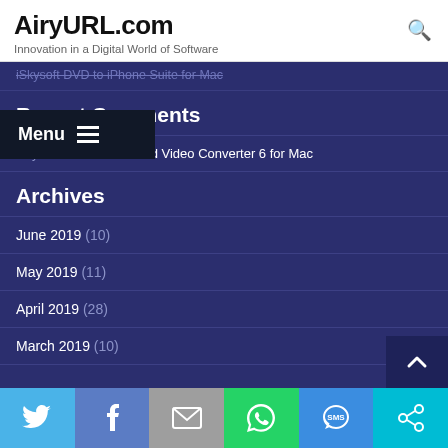AiryURL.com — Innovation in a Digital World of Software
iSkysoft DVD to iPhone Suite for Mac
Recent Comments
AiryURL on 4Media iPod Video Converter 6 for Mac
Archives
June 2019 (10)
May 2019 (11)
April 2019 (28)
March 2019 (10)